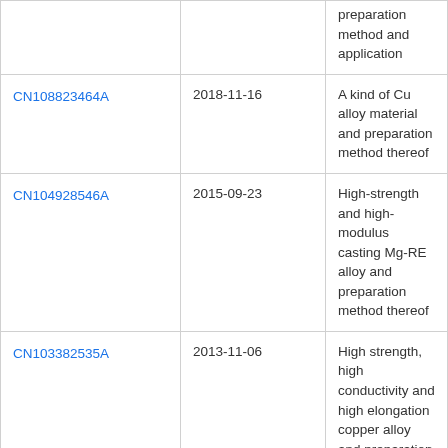| Patent Number | Date | Title |
| --- | --- | --- |
|  |  | preparation method and application |
| CN108823464A | 2018-11-16 | A kind of Cu alloy material and preparation method thereof |
| CN104928546A | 2015-09-23 | High-strength and high-modulus casting Mg-RE alloy and preparation method thereof |
| CN103382535A | 2013-11-06 | High strength, high conductivity and high elongation copper alloy and preparation method thereof |
| CN109207817A | 2019-01-15 | A kind of high conductivity and high-intensitive preparation process of aluminium alloy and its aluminium alloy |
| CN107447144A | 2017-12-08 | A kind of heat-resistant rare earth aluminium alloy and preparation method thereof |